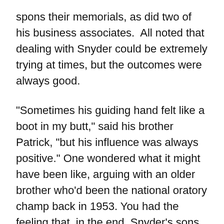spons their memorials, as did two of his business associates.  All noted that dealing with Snyder could be extremely trying at times, but the outcomes were always good.
"Sometimes his guiding hand felt like a boot in my butt," said his brother Patrick, "but his influence was always positive." One wondered what it might have been like, arguing with an older brother who'd been the national oratory champ back in 1953. You had the feeling that, in the end, Snyder's sons and sibling had loved him very much, but had also been through very rough times with him. His daughter, Erin-Marisol Jenkins, who was named, in 1985, as a victim in what turned out to be a bogus molestation